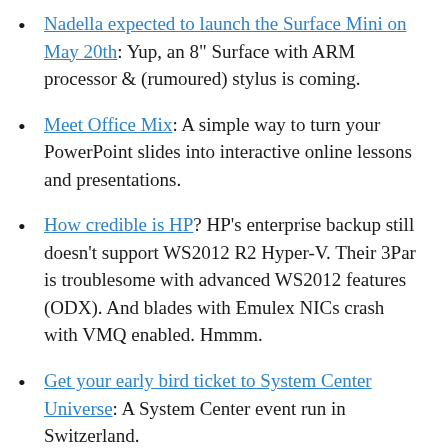Nadella expected to launch the Surface Mini on May 20th: Yup, an 8" Surface with ARM processor & (rumoured) stylus is coming.
Meet Office Mix: A simple way to turn your PowerPoint slides into interactive online lessons and presentations.
How credible is HP? HP's enterprise backup still doesn't support WS2012 R2 Hyper-V. Their 3Par is troublesome with advanced WS2012 features (ODX). And blades with Emulex NICs crash with VMQ enabled. Hmmm.
Get your early bird ticket to System Center Universe: A System Center event run in Switzerland.
Microsoft cheaper to use than open source